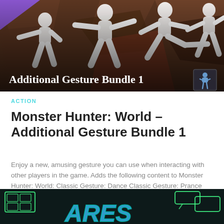[Figure (photo): Game promotional banner for 'Additional Gesture Bundle 1' for Monster Hunter: World. Shows white silhouette figures of characters dancing/gesturing on a dark brown geometric background. Text overlay reads 'Additional Gesture Bundle 1'. A small icon of a character is in the bottom right corner.]
ACTION
Monster Hunter: World – Additional Gesture Bundle 1
Enjoy a new, amusing gesture you can use when interacting with other players in the game. Adds the following content to Monster Hunter: World: Classic Gesture: Dance Classic Gesture: Prance Classic Gesture: Rant Classic...
[Figure (screenshot): Partial screenshot of another game or DLC content, showing green outlined UI elements on a dark background with a blue stylized character/logo visible at the bottom.]